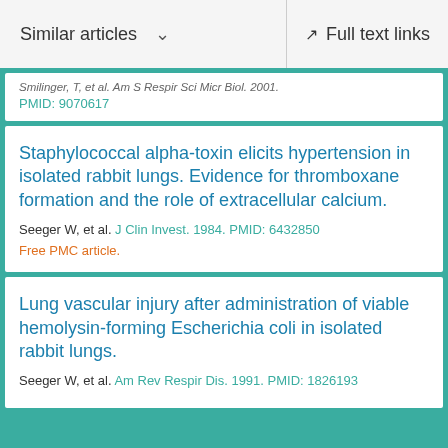Similar articles   Full text links
Smilinger, T, et al. Am S Respir Sci Micr Biol. 2001.
PMID: 9070617
Staphylococcal alpha-toxin elicits hypertension in isolated rabbit lungs. Evidence for thromboxane formation and the role of extracellular calcium.
Seeger W, et al. J Clin Invest. 1984. PMID: 6432850
Free PMC article.
Lung vascular injury after administration of viable hemolysin-forming Escherichia coli in isolated rabbit lungs.
Seeger W, et al. Am Rev Respir Dis. 1991. PMID: 1826193